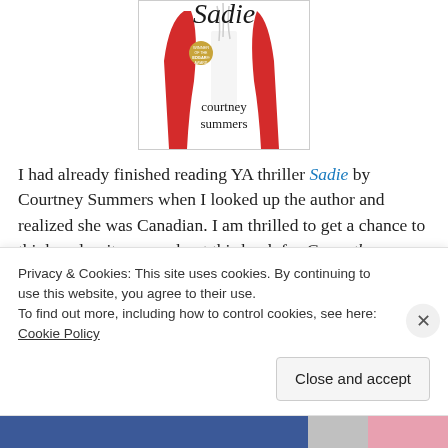[Figure (illustration): Book cover of 'Sadie' by Courtney Summers showing a red jacket figure with gold award medal badge]
I had already finished reading YA thriller Sadie by Courtney Summers when I looked up the author and realized she was Canadian. I am thrilled to get a chance to think and write more about this book for Casey the Canadian Librarian! I'm also excited to report that the
Privacy & Cookies: This site uses cookies. By continuing to use this website, you agree to their use.
To find out more, including how to control cookies, see here: Cookie Policy